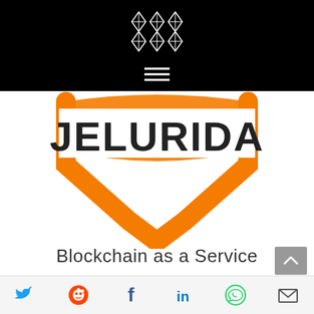[Figure (logo): Jelurida logo with geometric diamond/snowflake pattern in white on black background, hamburger menu icon below]
[Figure (logo): Jelurida wordmark with orange chevron/shield graphic element]
Blockchain as a Service
[Figure (infographic): Social media icons footer bar: Twitter (blue bird), Reddit (orange alien), Facebook (f), LinkedIn (in), WhatsApp (green phone), Email (envelope). Grey scroll-to-top arrow button.]